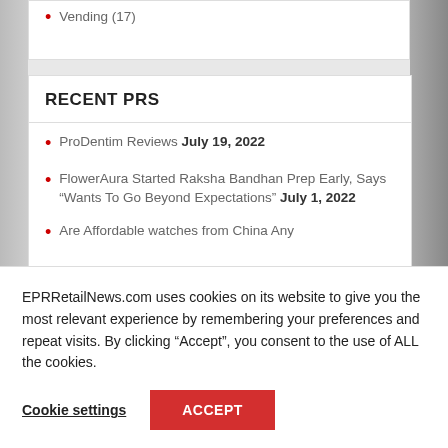Vending (17)
RECENT PRS
ProDentim Reviews July 19, 2022
FlowerAura Started Raksha Bandhan Prep Early, Says “Wants To Go Beyond Expectations” July 1, 2022
Are Affordable watches from China Any
EPRRetailNews.com uses cookies on its website to give you the most relevant experience by remembering your preferences and repeat visits. By clicking “Accept”, you consent to the use of ALL the cookies.
Cookie settings
ACCEPT